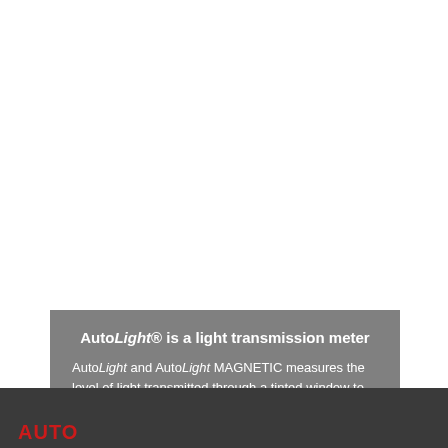AutoLight® is a light transmission meter
AutoLight and AutoLight MAGNETIC measures the level of light transmitted through a tinted window to determine its safety level.
AUTO